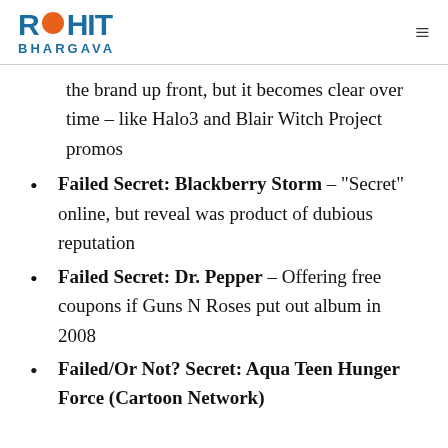ROHIT BHARGAVA
the brand up front, but it becomes clear over time – like Halo3 and Blair Witch Project promos
Failed Secret: Blackberry Storm – "Secret" online, but reveal was product of dubious reputation
Failed Secret: Dr. Pepper – Offering free coupons if Guns N Roses put out album in 2008
Failed/Or Not? Secret: Aqua Teen Hunger Force (Cartoon Network)